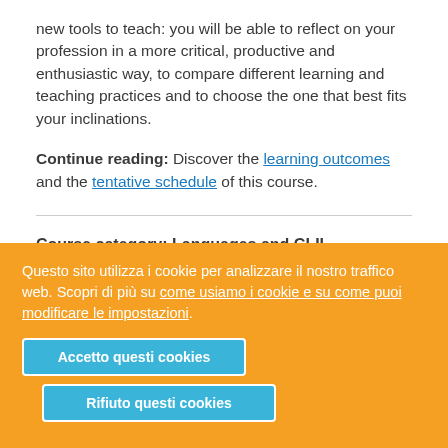new tools to teach: you will be able to reflect on your profession in a more critical, productive and enthusiastic way, to compare different learning and teaching practices and to choose the one that best fits your inclinations.
Continue reading: Discover the learning outcomes and the tentative schedule of this course.
Course category: Languages and CLIL
Questo sito utilizza i cookie per analizzare il nostro traffico web. Scopri di più su come usiamo i cookie e su come puoi modificare le impostazioni.
Accetto questi cookies
Rifiuto questi cookies